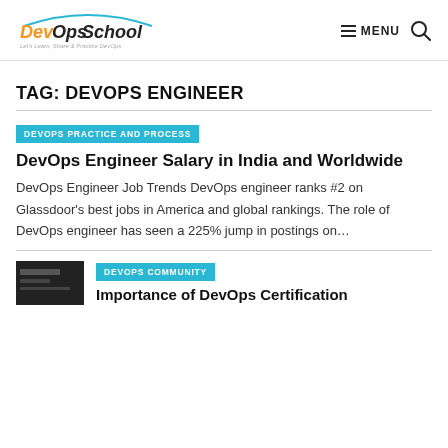DevOpsSchool — Let's Learn, Share & Practice DevOps | MENU
TAG: DEVOPS ENGINEER
DEVOPS PRACTICE AND PROCESS
DevOps Engineer Salary in India and Worldwide
DevOps Engineer Job Trends DevOps engineer ranks #2 on Glassdoor's best jobs in America and global rankings. The role of DevOps engineer has seen a 225% jump in postings on…
DEVOPS COMMUNITY
Importance of DevOps Certification